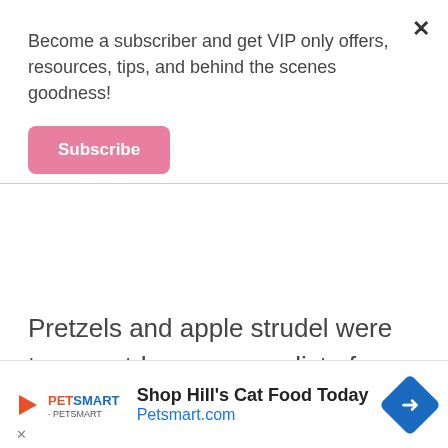Become a subscriber and get VIP only offers, resources, tips, and behind the scenes goodness!
Subscribe
Pretzels and apple strudel were two must-haves on my list of things to eat. We succeeded within our first few days there! They didn't disappoint.
[Figure (screenshot): PetSmart advertisement banner: 'Shop Hill's Cat Food Today — Petsmart.com' with PetSmart logo and blue arrow icon]